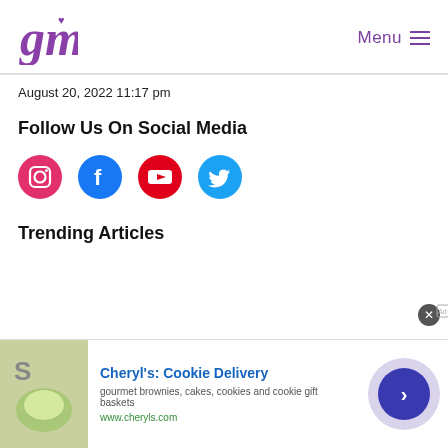GM logo | Menu
August 20, 2022 11:17 pm
Follow Us On Social Media
[Figure (illustration): Four social media icon circles: Instagram (pink), Facebook (blue), YouTube (red), Twitter (cyan)]
Trending Articles
[Figure (infographic): Advertisement banner for Cheryl's Cookie Delivery showing food image, text 'gourmet brownies, cakes, cookies and cookie gift baskets', www.cheryls.com, and a forward arrow button]